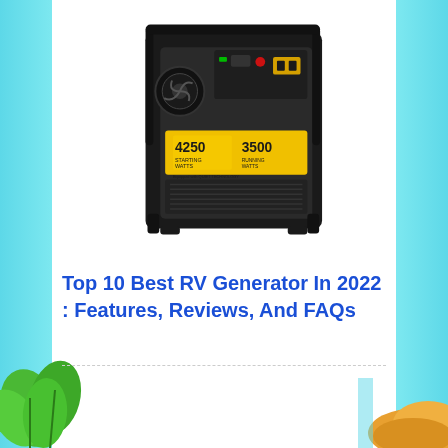[Figure (photo): Photo of a portable inverter generator with yellow and black casing, showing '4250 starting watts' and '3500 running watts' labels on the front panel, with control panel visible on top.]
Top 10 Best RV Generator In 2022 : Features, Reviews, And FAQs